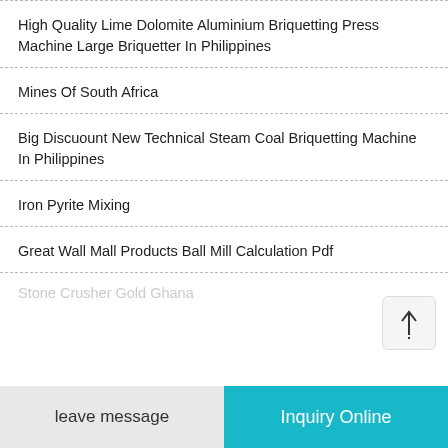High Quality Lime Dolomite Aluminium Briquetting Press Machine Large Briquetter In Philippines
Mines Of South Africa
Big Discuount New Technical Steam Coal Briquetting Machine In Philippines
Iron Pyrite Mixing
Great Wall Mall Products Ball Mill Calculation Pdf
Stone Crusher Gold Ghana